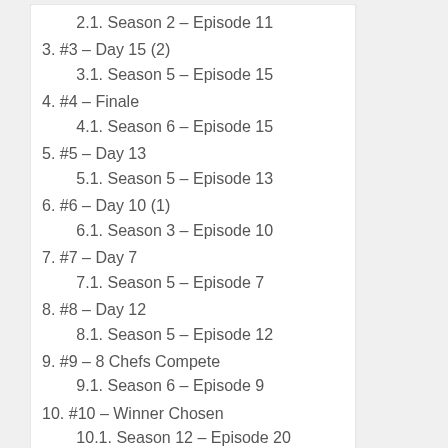2.1. Season 2 – Episode 11
3. #3 – Day 15 (2)
3.1. Season 5 – Episode 15
4. #4 – Finale
4.1. Season 6 – Episode 15
5. #5 – Day 13
5.1. Season 5 – Episode 13
6. #6 – Day 10 (1)
6.1. Season 3 – Episode 10
7. #7 – Day 7
7.1. Season 5 – Episode 7
8. #8 – Day 12
8.1. Season 5 – Episode 12
9. #9 – 8 Chefs Compete
9.1. Season 6 – Episode 9
10. #10 – Winner Chosen
10.1. Season 12 – Episode 20